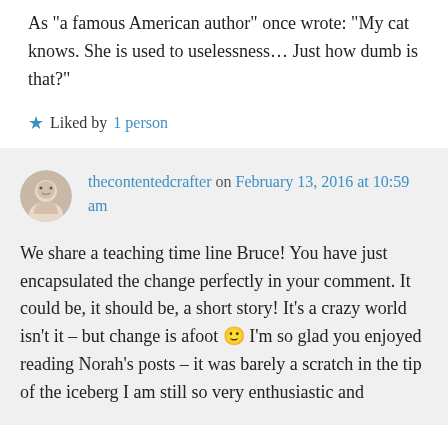As "a famous American author" once wrote: "My cat knows. She is used to uselessness… Just how dumb is that?"
Liked by 1 person
thecontentedcrafter on February 13, 2016 at 10:59 am
We share a teaching time line Bruce! You have just encapsulated the change perfectly in your comment. It could be, it should be, a short story! It's a crazy world isn't it – but change is afoot 🙂 I'm so glad you enjoyed reading Norah's posts – it was barely a scratch in the tip of the iceberg I am still so very enthusiastic and